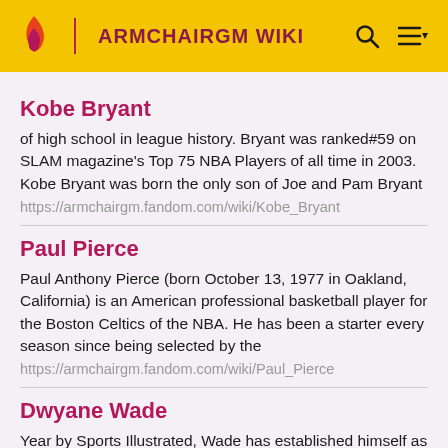ARMCHAIRGM WIKI
Kobe Bryant
of high school in league history. Bryant was ranked#59 on SLAM magazine's Top 75 NBA Players of all time in 2003. Kobe Bryant was born the only son of Joe and Pam Bryant
https://armchairgm.fandom.com/wiki/Kobe_Bryant
Paul Pierce
Paul Anthony Pierce (born October 13, 1977 in Oakland, California) is an American professional basketball player for the Boston Celtics of the NBA. He has been a starter every season since being selected by the
https://armchairgm.fandom.com/wiki/Paul_Pierce
Dwyane Wade
Year by Sports Illustrated, Wade has established himself as one of the most well-known and popular players in the league. He had